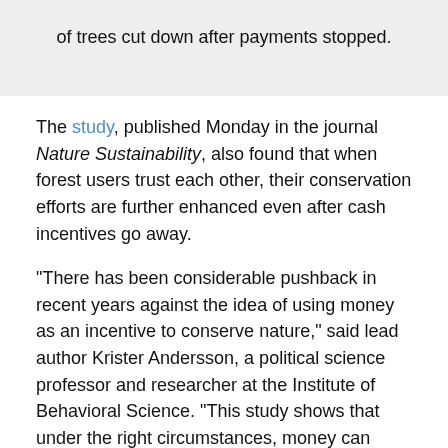of trees cut down after payments stopped.
The study, published Monday in the journal Nature Sustainability, also found that when forest users trust each other, their conservation efforts are further enhanced even after cash incentives go away.
“There has been considerable pushback in recent years against the idea of using money as an incentive to conserve nature,” said lead author Krister Andersson, a political science professor and researcher at the Institute of Behavioral Science. “This study shows that under the right circumstances, money can actually induce people to make the right decision for nature longer term.”
The study comes at a time when so-called Payments for Ecosystem Services (PES) are becoming an increasingly common tool among policymakers wanting to promote